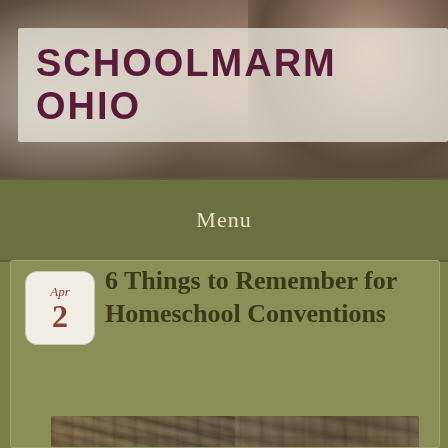SCHOOLMARM OHIO
Menu
6 Things to Remember for Homeschool Conventions
[Figure (photo): Aerial/overhead view of a large crowded homeschool convention floor with many attendees browsing vendor booths and displays in a large hall.]